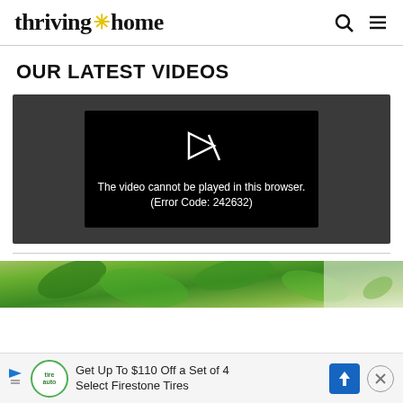thriving * home
OUR LATEST VIDEOS
[Figure (screenshot): Video player showing error message: The video cannot be played in this browser. (Error Code: 242632)]
[Figure (photo): Partial image of green leafy vegetables, appears to be basil or similar herbs on a white surface]
Get Up To $110 Off a Set of 4 Select Firestone Tires